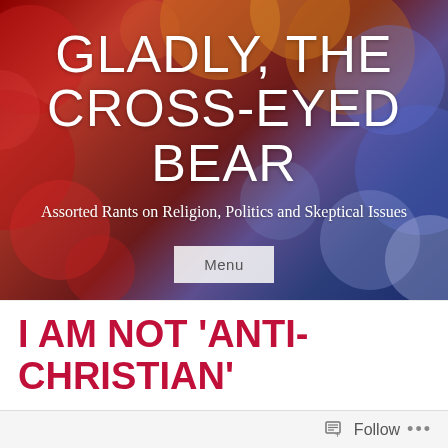[Figure (photo): Blog header with bokeh blurred lights background in red, orange, and blue tones]
GLADLY, THE CROSS-EYED BEAR
Assorted Rants on Religion, Politics and Skeptical Issues
I AM NOT ‘ANTI-CHRISTIAN’
Follow ...